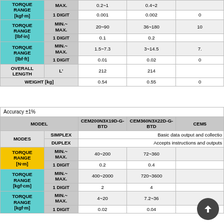|  |  | CEM200N3X19D-G-BTD | CEM360N3X22D-G-BTD | CEM5... |
| --- | --- | --- | --- | --- |
| TORQUE RANGE [kgf·m] | MAX. | 0.2~1 | 0.4~2 |  |
| TORQUE RANGE [kgf·m] | 1 DIGIT | 0.001 | 0.002 | 0 |
| TORQUE RANGE [lbf·in] | MIN.~MAX. | 20~90 | 36~180 | 10 |
| TORQUE RANGE [lbf·in] | 1 DIGIT | 0.1 | 0.2 |  |
| TORQUE RANGE [lbf·ft] | MIN.~MAX. | 1.5~7.3 | 3~14.5 | 7. |
| TORQUE RANGE [lbf·ft] | 1 DIGIT | 0.01 | 0.02 | 0 |
| OVERALL LENGTH | L' | 212 | 214 |  |
| WEIGHT [kg] |  | 0.54 | 0.55 | 0 |
|  |  | CEM200N3X19D-G-BTD | CEM360N3X22D-G-BTD | CEM5... |
| --- | --- | --- | --- | --- |
| Accuracy ±1% |  |  |  |  |
| MODEL |  | CEM200N3X19D-G-BTD | CEM360N3X22D-G-BTD | CEM5 |
| MODES | SIMPLEX | Basic data output and collection |  |  |
| MODES | DUPLEX | Accepts instructions and outputs |  |  |
| TORQUE RANGE [N·m] | MIN.~MAX. | 40~200 | 72~360 |  |
| TORQUE RANGE [N·m] | 1 DIGIT | 0.2 | 0.4 |  |
| TORQUE RANGE [kgf·cm] | MIN.~MAX. | 400~2000 | 720~3600 |  |
| TORQUE RANGE [kgf·cm] | 1 DIGIT | 2 | 4 |  |
| TORQUE RANGE [kgf·m] | MIN.~MAX. | 4~20 | 7.2~36 |  |
| TORQUE RANGE [kgf·m] | 1 DIGIT | 0.02 | 0.04 |  |